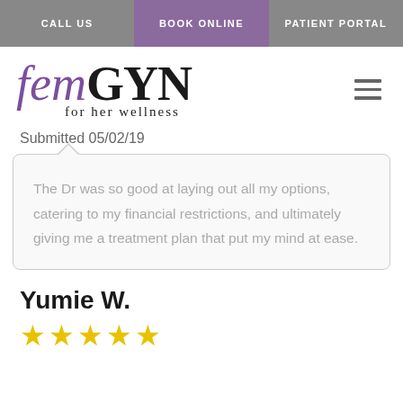CALL US | BOOK ONLINE | PATIENT PORTAL
[Figure (logo): femGYN for her wellness logo — fem in italic purple, GYN in bold black serif, tagline 'for her wellness' below]
Submitted 05/02/19
The Dr was so good at laying out all my options, catering to my financial restrictions, and ultimately giving me a treatment plan that put my mind at ease.
Yumie W.
[Figure (other): Five gold star rating icons]